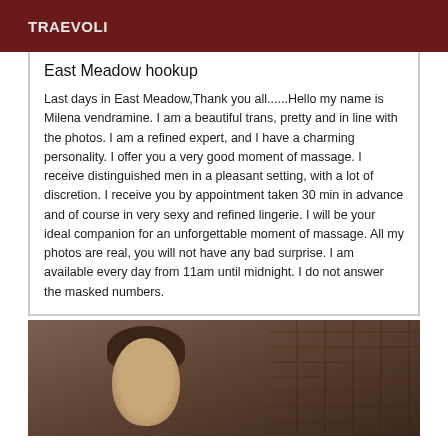TRAEVOLI
East Meadow hookup
Last days in East Meadow,Thank you all......Hello my name is Milena vendramine. I am a beautiful trans, pretty and in line with the photos. I am a refined expert, and I have a charming personality. I offer you a very good moment of massage. I receive distinguished men in a pleasant setting, with a lot of discretion. I receive you by appointment taken 30 min in advance and of course in very sexy and refined lingerie. I will be your ideal companion for an unforgettable moment of massage. All my photos are real, you will not have any bad surprise. I am available every day from 11am until midnight. I do not answer the masked numbers.
[Figure (photo): Photo of a person, partially visible, with brick wall background]